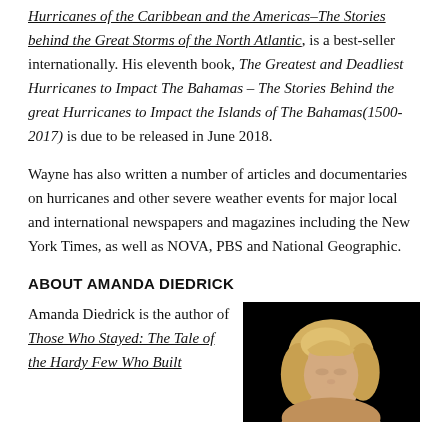Hurricanes of the Caribbean and the Americas–The Stories behind the Great Storms of the North Atlantic, is a best-seller internationally. His eleventh book, The Greatest and Deadliest Hurricanes to Impact The Bahamas – The Stories Behind the great Hurricanes to Impact the Islands of The Bahamas(1500-2017) is due to be released in June 2018.
Wayne has also written a number of articles and documentaries on hurricanes and other severe weather events for major local and international newspapers and magazines including the New York Times, as well as NOVA, PBS and National Geographic.
ABOUT AMANDA DIEDRICK
Amanda Diedrick is the author of Those Who Stayed: The Tale of the Hardy Few Who Built
[Figure (photo): Headshot of Amanda Diedrick, a blonde woman photographed against a black background]